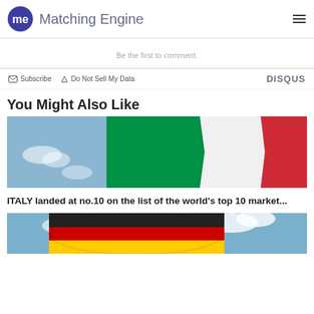Matching Engine
Be the first to comment.
Subscribe   Do Not Sell My Data   DISQUS
You Might Also Like
[Figure (photo): Italian flag waving against a blue sky with clouds]
ITALY landed at no.10 on the list of the world's top 10 market...
[Figure (photo): German flag waving against a blue sky with clouds]